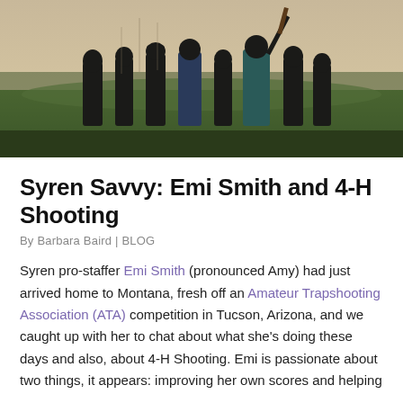[Figure (photo): Group of people standing in an open field at dusk or dawn, seen from behind, some holding rifles or shotguns pointed upward, with a wide prairie landscape and pale sky in the background.]
Syren Savvy: Emi Smith and 4-H Shooting
By Barbara Baird | BLOG
Syren pro-staffer Emi Smith (pronounced Amy) had just arrived home to Montana, fresh off an Amateur Trapshooting Association (ATA) competition in Tucson, Arizona, and we caught up with her to chat about what she's doing these days and also, about 4-H Shooting. Emi is passionate about two things, it appears: improving her own scores and helping